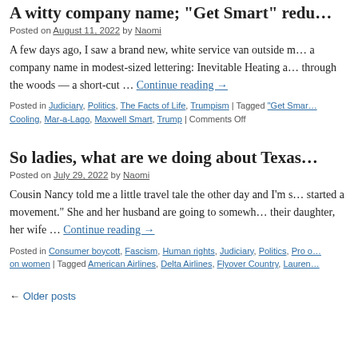A witty company name; "Get Smart" redu…
Posted on August 11, 2022 by Naomi
A few days ago, I saw a brand new, white service van outside m… a company name in modest-sized lettering: Inevitable Heating a… through the woods — a short-cut … Continue reading →
Posted in Judiciary, Politics, The Facts of Life, Trumpism | Tagged "Get Smar… Cooling, Mar-a-Lago, Maxwell Smart, Trump | Comments Off
So ladies, what are we doing about Texas…
Posted on July 29, 2022 by Naomi
Cousin Nancy told me a little travel tale the other day and I'm s… started a movement." She and her husband are going to somewh… their daughter, her wife … Continue reading →
Posted in Consumer boycott, Fascism, Human rights, Judiciary, Politics, Pro o… on women | Tagged American Airlines, Delta Airlines, Flyover Country, Lauren…
← Older posts